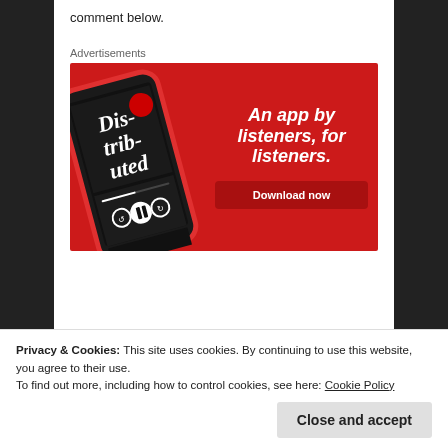comment below.
Advertisements
[Figure (other): Advertisement banner with red background showing a smartphone displaying a podcast app with 'Dis-tri-bu-ted' text. Right side says 'An app by listeners, for listeners.' with a 'Download now' button.]
Privacy & Cookies: This site uses cookies. By continuing to use this website, you agree to their use.
To find out more, including how to control cookies, see here: Cookie Policy
Close and accept